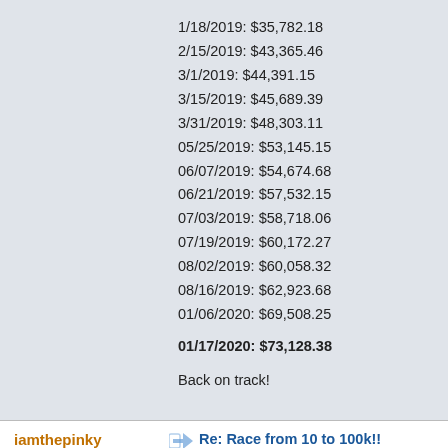1/18/2019: $35,782.18
2/15/2019: $43,365.46
3/1/2019: $44,391.15
3/15/2019: $45,689.39
3/31/2019: $48,303.11
05/25/2019: $53,145.15
06/07/2019: $54,674.68
06/21/2019: $57,532.15
07/03/2019: $58,718.06
07/19/2019: $60,172.27
08/02/2019: $60,058.32
08/16/2019: $62,923.68
01/06/2020: $69,508.25
01/17/2020: $73,128.38
Back on track!
iamthepinky
5 O'Clock Shadow
Posts: 13
Re: Race from 10 to 100k!!
« Reply #2771 on: January 17, 2020, 05: PM »
All numbers are for joint net worth betwe